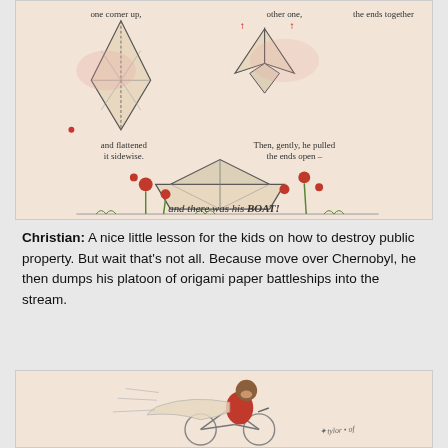[Figure (illustration): Illustrated page from a children's book showing origami folding steps to make a paper boat. Top row shows two stages: folding one corner up, then the other. Middle shows flattening it sidewise and pulling ends open. Bottom shows the completed paper boat among red flowers with text 'and there was his BOAT!']
Christian: A nice little lesson for the kids on how to destroy public property. But wait that's not all. Because move over Chernobyl, he then dumps his platoon of origami paper battleships into the stream.
[Figure (illustration): Illustration from a children's book showing a monkey in a red outfit riding a bicycle at speed, with a trailing cape or scarf flowing behind. There appears to be a handwritten signature or text in the lower right.]